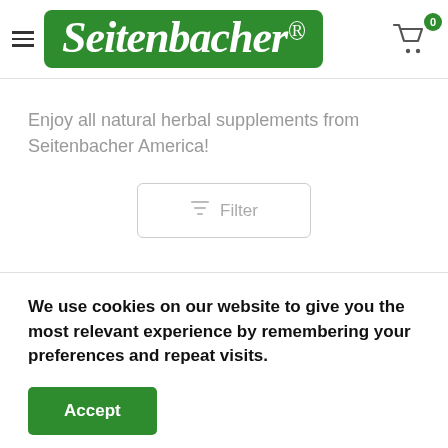[Figure (logo): Seitenbacher green logo with white italic text and registered trademark symbol]
Enjoy all natural herbal supplements from Seitenbacher America!
Filter
We use cookies on our website to give you the most relevant experience by remembering your preferences and repeat visits.
Accept